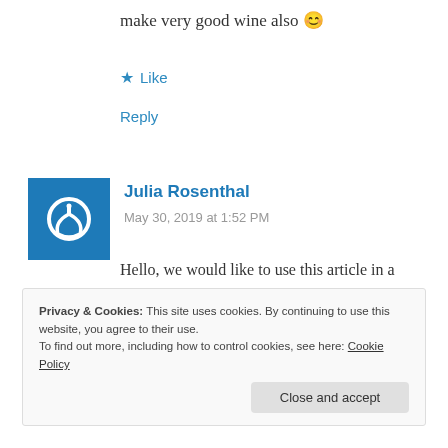make very good wine also 😊
★ Like
Reply
Julia Rosenthal
May 30, 2019 at 1:52 PM
Hello, we would like to use this article in a public school test. Please email for release form.
Thank you,
Privacy & Cookies: This site uses cookies. By continuing to use this website, you agree to their use.
To find out more, including how to control cookies, see here: Cookie Policy
Close and accept
Reply